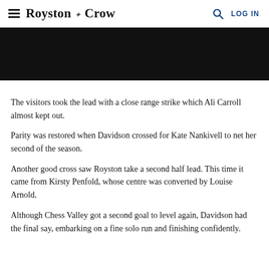≡  Royston Crow  🔍  LOG IN
[Figure (photo): Black rectangular hero image placeholder at top of article]
The visitors took the lead with a close range strike which Ali Carroll almost kept out.
Parity was restored when Davidson crossed for Kate Nankivell to net her second of the season.
Another good cross saw Royston take a second half lead. This time it came from Kirsty Penfold, whose centre was converted by Louise Arnold.
Although Chess Valley got a second goal to level again, Davidson had the final say, embarking on a fine solo run and finishing confidently.